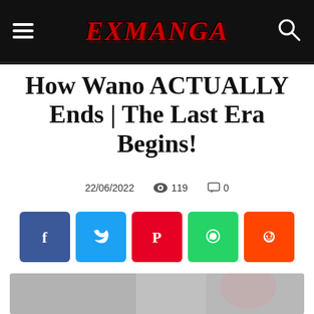EXMANGA
How Wano ACTUALLY Ends | The Last Era Begins!
22/06/2022   119   0
[Figure (infographic): Social share buttons: Facebook (blue), Twitter (cyan), Pinterest (red), WhatsApp (green), Reddit (orange)]
[Figure (illustration): Anime/manga style illustration related to One Piece Wano arc, showing characters in a faded grayscale background]